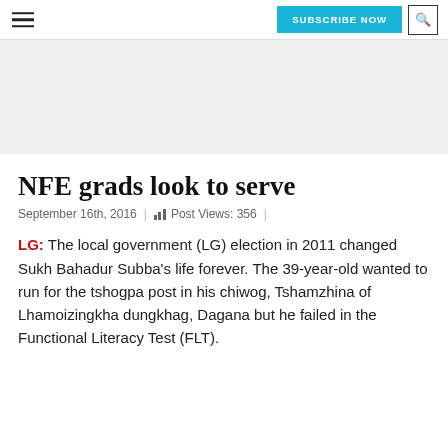SUBSCRIBE NOW | Search
[Figure (other): Gray advertisement banner area]
NFE grads look to serve
September 16th, 2016 | Post Views: 356
LG: The local government (LG) election in 2011 changed Sukh Bahadur Subba’s life forever. The 39-year-old wanted to run for the tshogpa post in his chiwog, Tshamzhina of Lhamoizingkha dungkhag, Dagana but he failed in the Functional Literacy Test (FLT).